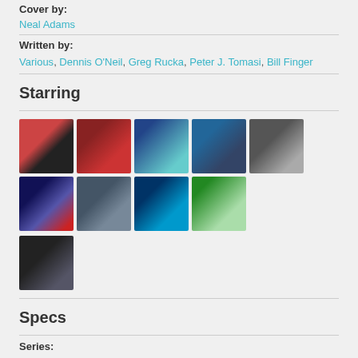Cover by:
Neal Adams
Written by:
Various, Dennis O'Neil, Greg Rucka, Peter J. Tomasi, Bill Finger
Starring
[Figure (photo): Grid of 10 comic book character portrait thumbnails]
Specs
Series:
DC ANNIVERSARY CELEBRATIONS 2013
Book Type: